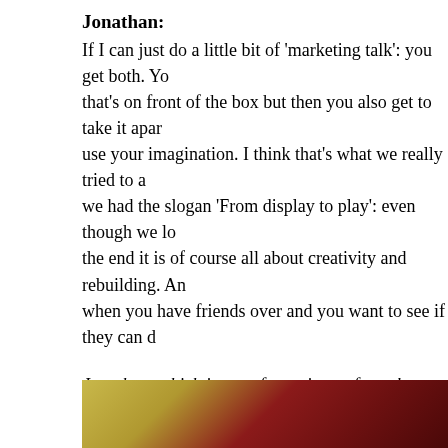Jonathan:
If I can just do a little bit of 'marketing talk': you get both. Yo that's on front of the box but then you also get to take it apar use your imagination. I think that's what we really tried to a we had the slogan 'From display to play': even though we lo the end it is of course all about creativity and rebuilding. An when you have friends over and you want to see if they can d
Jonathan, which is your favourite set from the whole lineup:
Jonathan:
My favourite set is the piranha slider [71365 Piranha Plant P because: bringing game mechanics to physical LEGO play? T make any sense to people. And then, when we built this littl "yes! Mario is moving and you have to stay between the obs You know, the concept fell into place by building that slider. of of the play. I love that you can cheat on it! – you can just k forth. We really did not try to prevent that because that's no of this line is giving you the tools and having fun with it.
[Figure (photo): Bottom strip showing a partial photo, appears to show LEGO Mario or related colorful subject with yellow/green and red colors visible.]